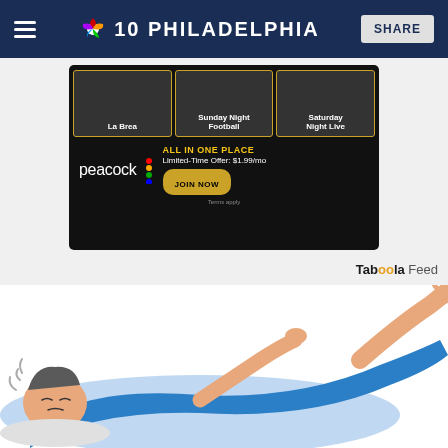NBC 10 Philadelphia — SHARE
[Figure (screenshot): Peacock streaming advertisement showing La Brea, Sunday Night Football, and Saturday Night Live show tiles with Peacock logo, 'ALL IN ONE PLACE', 'Limited-Time Offer: $1.99/mo', 'JOIN NOW' button and 'Terms apply' footer]
Taboola Feed
[Figure (illustration): Cartoon illustration of a person in blue clothing lying on their back, appearing distressed or in pain, with lines near their head suggesting dizziness]